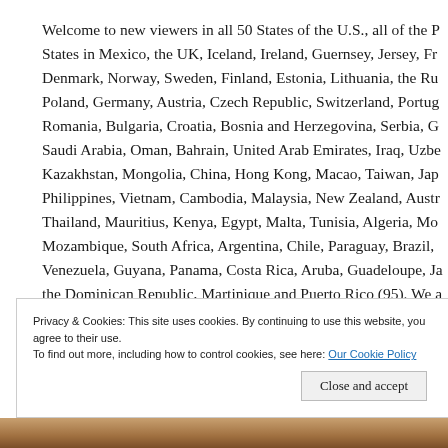Welcome to new viewers in all 50 States of the U.S., all of the States in Mexico, the UK, Iceland, Ireland, Guernsey, Jersey, Fr... Denmark, Norway, Sweden, Finland, Estonia, Lithuania, the Ru... Poland, Germany, Austria, Czech Republic, Switzerland, Portug... Romania, Bulgaria, Croatia, Bosnia and Herzegovina, Serbia, G... Saudi Arabia, Oman, Bahrain, United Arab Emirates, Iraq, Uzbe... Kazakhstan, Mongolia, China, Hong Kong, Macao, Taiwan, Jap... Philippines, Vietnam, Cambodia, Malaysia, New Zealand, Austr... Thailand, Mauritius, Kenya, Egypt, Malta, Tunisia, Algeria, Mo... Mozambique, South Africa, Argentina, Chile, Paraguay, Brazil, Venezuela, Guyana, Panama, Costa Rica, Aruba, Guadeloupe, J... the Dominican Republic, Martinique and Puerto Rico (95). We a... than 11,000 views.
Privacy & Cookies: This site uses cookies. By continuing to use this website, you agree to their use.
To find out more, including how to control cookies, see here: Our Cookie Policy
Close and accept